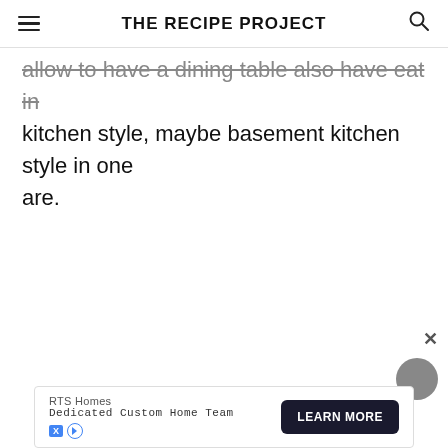THE RECIPE PROJECT
allow to have a dining table also have eat in kitchen style, maybe basement kitchen style in one are.
RTS Homes
Dedicated Custom Home Team
LEARN MORE